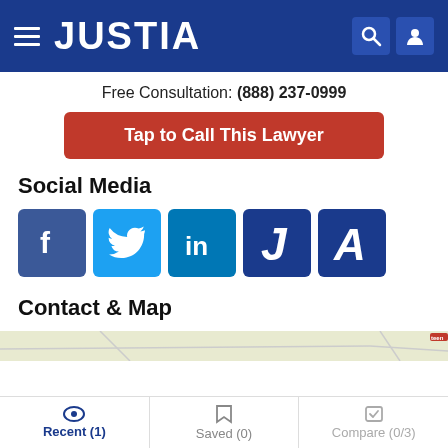JUSTIA
Free Consultation: (888) 237-0999
Tap to Call This Lawyer
Social Media
[Figure (logo): Social media icons: Facebook (blue f), Twitter (light blue bird), LinkedIn (blue 'in'), Justia (dark blue J), Avvo (dark blue A)]
Contact & Map
[Figure (map): Partial map strip showing street map]
Recent (1)   Saved (0)   Compare (0/3)